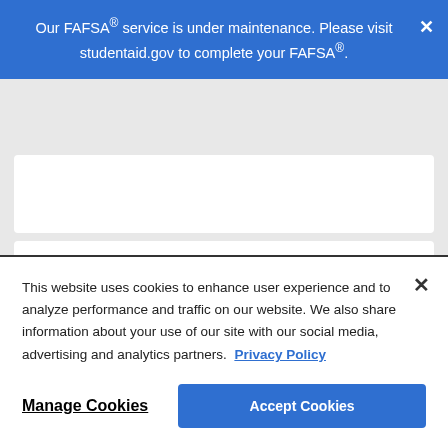Our FAFSA® service is under maintenance. Please visit studentaid.gov to complete your FAFSA®.
$11,746
This website uses cookies to enhance user experience and to analyze performance and traffic on our website. We also share information about your use of our site with our social media, advertising and analytics partners. Privacy Policy
Manage Cookies
Accept Cookies